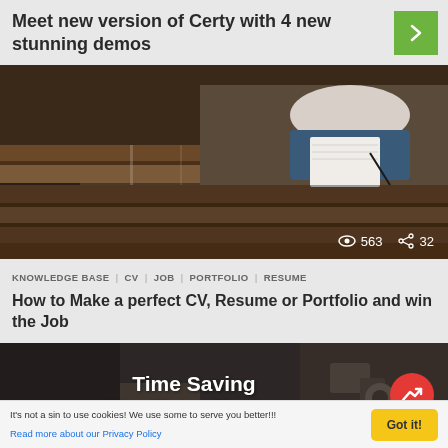Meet new version of Certy with 4 new stunning demos
[Figure (photo): Person sitting on steps writing in a notebook, view count 563 and share count 32 overlaid at bottom right]
KNOWLEDGE BASE  CV  JOB  PORTFOLIO  RESUME
How to Make a perfect CV, Resume or Portfolio and win the Job
[Figure (photo): Dark background image with text overlay reading 'Time Saving WordPress Plugins' and red circular badge with upward arrow icon]
It's not a sin to use cookies! We use some to serve you better!!! Read more about our Privacy Policy